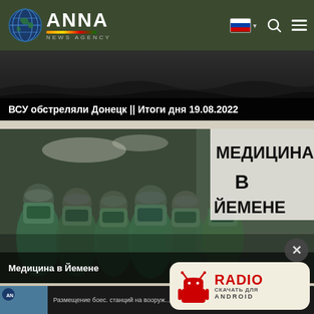ANNA NEWS AGENCY
[Figure (screenshot): Dark rocky/rubble background image for news article about shelling of Donetsk]
ВСУ обстреляли Донецк || Итоги дня 19.08.2022
[Figure (photo): Group of surgeons in green scrubs and masks in an operating room, with text overlay МЕДИЦИНА В ЙЕМЕНЕ]
Медицина в Йемене
[Figure (infographic): RADIO СКАЧАТЬ ДЛЯ ANDROID banner with Android robot icon]
[Figure (screenshot): Bottom partial thumbnail of another news article with ANNA logo]